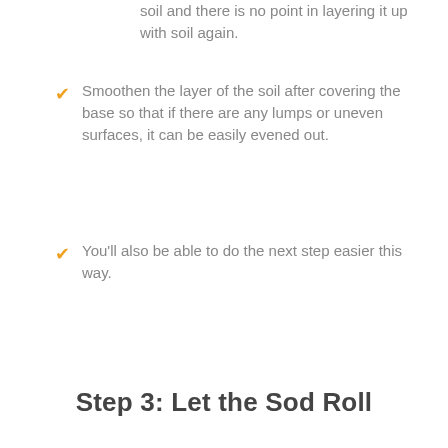soil and there is no point in layering it up with soil again.
Smoothen the layer of the soil after covering the base so that if there are any lumps or uneven surfaces, it can be easily evened out.
You'll also be able to do the next step easier this way.
Step 3: Let the Sod Roll